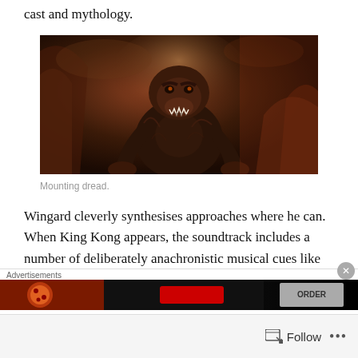cast and mythology.
[Figure (photo): A large roaring ape (King Kong) in a dark, reddish-lit environment, crouching aggressively with mouth open wide.]
Mounting dread.
Wingard cleverly synthesises approaches where he can. When King Kong appears, the soundtrack includes a number of deliberately anachronistic musical cues like Bobby Vinton or Elvis Presley, in a nod to Vogt Roberts'
Advertisements
[Figure (photo): Advertisement banner showing food (pizza) with an ORDER button.]